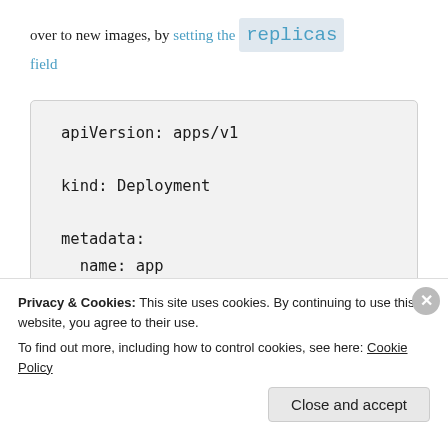over to new images, by setting the replicas field
apiVersion: apps/v1
kind: Deployment
metadata:
  name: app
spec:
  replicas: 5
Privacy & Cookies: This site uses cookies. By continuing to use this website, you agree to their use.
To find out more, including how to control cookies, see here: Cookie Policy